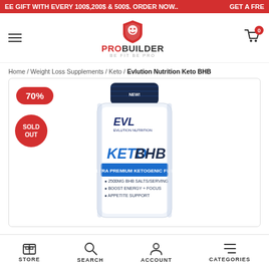EE GIFT WITH EVERY 100$,200$ & 500$. ORDER NOW..   GET A FRE
[Figure (logo): ProBuilder logo with red shield icon and text PROBUILDER, BE FIT BE PRO]
Home / Weight Loss Supplements / Keto / Evlution Nutrition Keto BHB
[Figure (photo): Evlution Nutrition Keto BHB supplement bottle with blue and white label showing KETO BHB ULTRA PREMIUM KETOGENIC FUEL, 2500MG BHB SALTS/SERVING, BOOST ENERGY + FOCUS, APPETITE SUPPORT. 70% badge and SOLD OUT badge visible.]
STORE   SEARCH   ACCOUNT   CATEGORIES